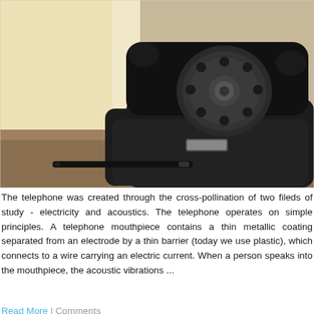[Figure (photo): A vintage black rotary telephone sitting on a surface next to a black fountain pen, with a light-colored curtain/wall in the background.]
The telephone was created through the cross-pollination of two fileds of study - electricity and acoustics. The telephone operates on simple principles. A telephone mouthpiece contains a thin metallic coating separated from an electrode by a thin barrier (today we use plastic), which connects to a wire carrying an electric current. When a person speaks into the mouthpiece, the acoustic vibrations ...
Read More | Comments